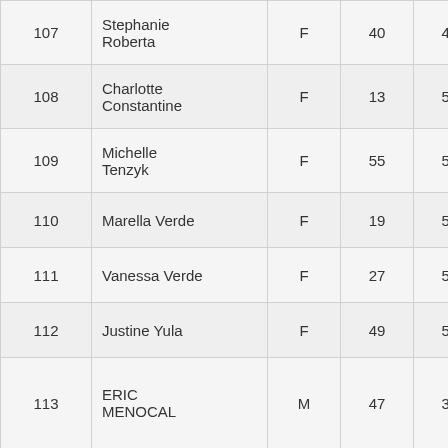| 107 | Stephanie Roberta | F | 40 | 444 | 8:43 |
| 108 | Charlotte Constantine | F | 13 | 582 | 8:45 |
| 109 | Michelle Tenzyk | F | 55 | 527 | 8:46 |
| 110 | Marella Verde | F | 19 | 541 | 8:47 |
| 111 | Vanessa Verde | F | 27 | 540 | 8:47 |
| 112 | Justine Yula | F | 49 | 564 | 8:48 |
| 113 | ERIC MENOCAL | M | 47 | 358 | 8:49 |